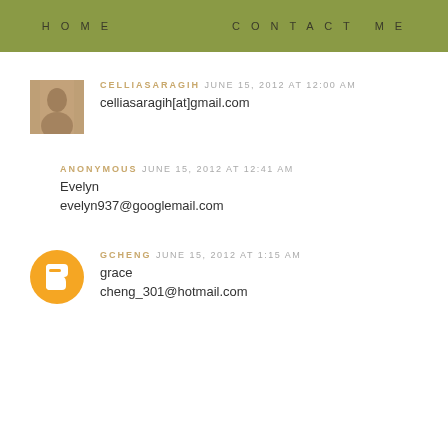HOME   CONTACT ME
CELLIASARAGIH JUNE 15, 2012 AT 12:00 AM
celliasaragih[at]gmail.com
ANONYMOUS JUNE 15, 2012 AT 12:41 AM
Evelyn
evelyn937@googlemail.com
GCHENG JUNE 15, 2012 AT 1:15 AM
grace
cheng_301@hotmail.com